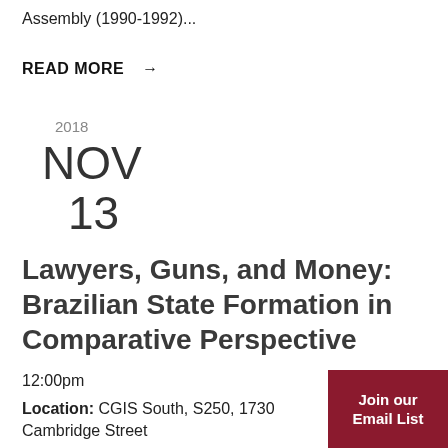Assembly (1990-1992)...
READ MORE →
2018
NOV
13
Lawyers, Guns, and Money: Brazilian State Formation in Comparative Perspective
12:00pm
Location: CGIS South, S250, 1730 Cambridge Street
Join our Email List